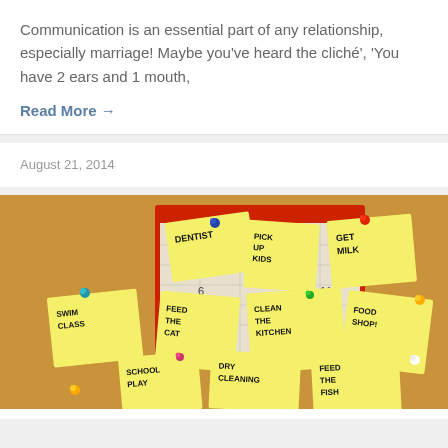Communication is an essential part of any relationship, especially marriage! Maybe you've heard the cliché', 'You have 2 ears and 1 mouth,
Read More →
August 21, 2014
[Figure (photo): A corkboard covered with yellow sticky notes showing tasks: DENTIST, PICK UP KIDS, GET MILK, SWIM CLASS, FEED THE CAT, CLEAN THE KITCHEN, FOOD SHOP!, SCHOOL PLAY, DRY CLEANING, FEED THE FISH, with colorful pushpins and a red calendar in the background.]